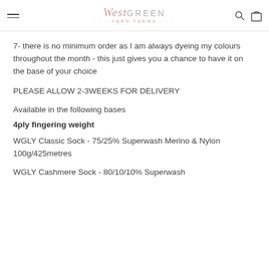West Green Yarn Farm
7- there is no minimum order as I am always dyeing my colours throughout the month - this just gives you a chance to have it on the base of your choice
PLEASE ALLOW 2-3WEEKS FOR DELIVERY
Available in the following bases
4ply fingering weight
WGLY Classic Sock - 75/25% Superwash Merino & Nylon 100g/425metres
WGLY Cashmere Sock - 80/10/10% Superwash